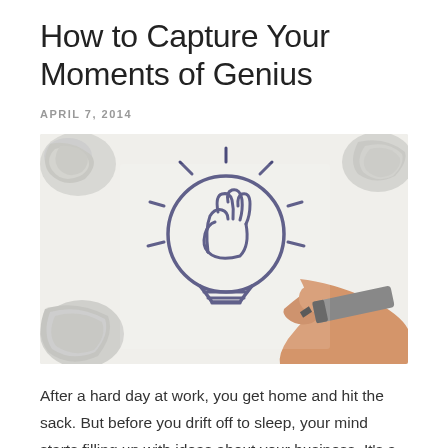How to Capture Your Moments of Genius
APRIL 7, 2014
[Figure (photo): A hand drawing a light bulb sketch with a marker on white paper, with crumpled papers visible in the background corners.]
After a hard day at work, you get home and hit the sack. But before you drift off to sleep, your mind starts filling up with ideas about your business. It's a common part of the whole creative process for people who are